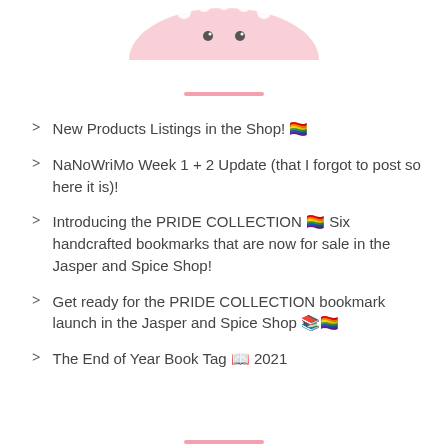[Figure (illustration): Partial decorative illustration at top of page showing a pink floral/daisy design with small dots resembling a cute face]
New Products Listings in the Shop! 🏳️‍🌈
NaNoWriMo Week 1 + 2 Update (that I forgot to post so here it is)!
Introducing the PRIDE COLLECTION 🏳️‍🌈 Six handcrafted bookmarks that are now for sale in the Jasper and Spice Shop!
Get ready for the PRIDE COLLECTION bookmark launch in the Jasper and Spice Shop 🏳️‍🌈
The End of Year Book Tag 📖 2021